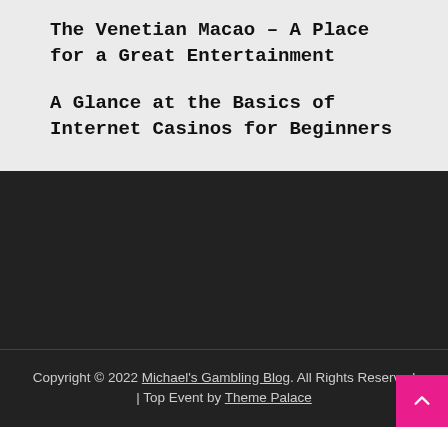The Venetian Macao – A Place for a Great Entertainment
A Glance at the Basics of Internet Casinos for Beginners
Copyright © 2022 Michael's Gambling Blog. All Rights Reserved | Top Event by Theme Palace